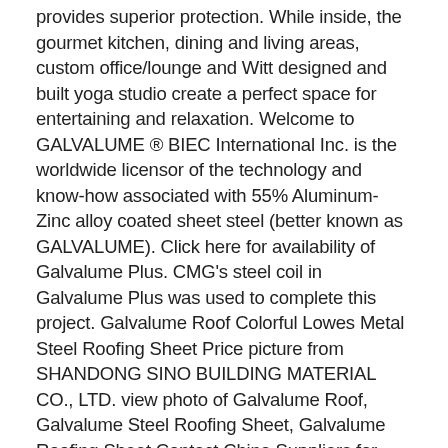provides superior protection. While inside, the gourmet kitchen, dining and living areas, custom office/lounge and Witt designed and built yoga studio create a perfect space for entertaining and relaxation. Welcome to GALVALUME ® BIEC International Inc. is the worldwide licensor of the technology and know-how associated with 55% Aluminum-Zinc alloy coated sheet steel (better known as GALVALUME). Click here for availability of Galvalume Plus. CMG's steel coil in Galvalume Plus was used to complete this project. Galvalume Roof Colorful Lowes Metal Steel Roofing Sheet Price picture from SHANDONG SINO BUILDING MATERIAL CO., LTD. view photo of Galvalume Roof, Galvalume Steel Roofing Sheet, Galvalume Roofing Sheet.Contact China Suppliers for More Products and Price. - mattie_walker84, Photograph by Bernard AndréInspiration for a cottage exterior home remodel in San FranciscoForward Gable Ground floor bump out - webuser_429567229, Matthew MillmanTransitional wood gable roof photo in San Francisco with a metal roofGrey with hints of brown - semi transparent stain - theresatam, A new gable entry and roof extension over the south facing deck. Proper roof inspections and maintenance is still required, as with any other roof system. Slant V-Nose with ATP, Galvalume, or Colored Metal. Bar and Counter Stools With Free Shipping. Concrete Floored Abode